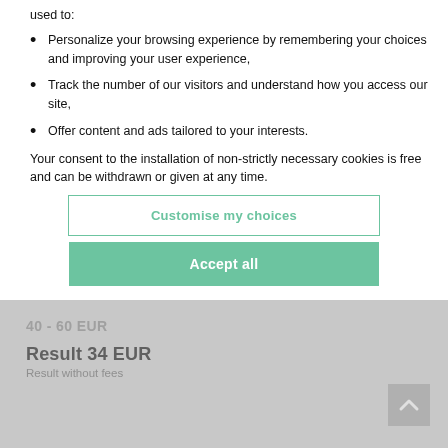used to:
Personalize your browsing experience by remembering your choices and improving your user experience,
Track the number of our visitors and understand how you access our site,
Offer content and ads tailored to your interests.
Your consent to the installation of non-strictly necessary cookies is free and can be withdrawn or given at any time.
Customise my choices
Accept all
40 - 60 EUR
Result 34 EUR
Result without fees